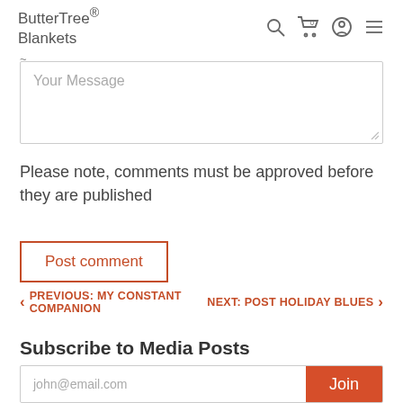ButterTree® Blankets
Your Message
Please note, comments must be approved before they are published
Post comment
PREVIOUS: MY CONSTANT COMPANION
NEXT: POST HOLIDAY BLUES
Subscribe to Media Posts
john@email.com
Join